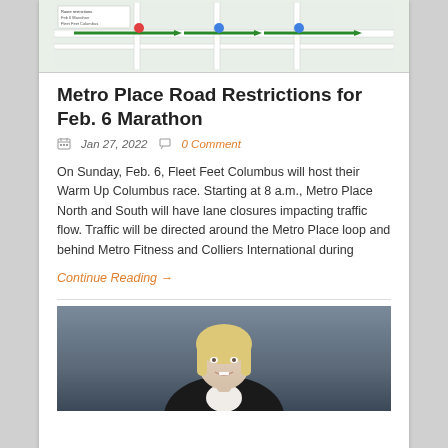[Figure (map): Partial view of a Google Maps-style road map showing Metro Place area with route markers and green arrows]
Metro Place Road Restrictions for Feb. 6 Marathon
Jan 27, 2022    0 Comment
On Sunday, Feb. 6, Fleet Feet Columbus will host their Warm Up Columbus race. Starting at 8 a.m., Metro Place North and South will have lane closures impacting traffic flow. Traffic will be directed around the Metro Place loop and behind Metro Fitness and Colliers International during
Continue Reading →
[Figure (photo): Professional headshot of a blonde woman smiling, wearing a dark blazer over a light-colored top, against a gray background]